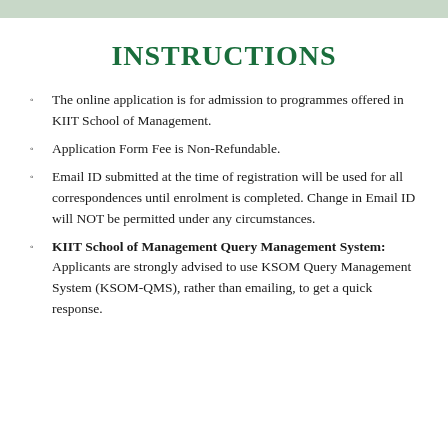INSTRUCTIONS
The online application is for admission to programmes offered in KIIT School of Management.
Application Form Fee is Non-Refundable.
Email ID submitted at the time of registration will be used for all correspondences until enrolment is completed. Change in Email ID will NOT be permitted under any circumstances.
KIIT School of Management Query Management System: Applicants are strongly advised to use KSOM Query Management System (KSOM-QMS), rather than emailing, to get a quick response.